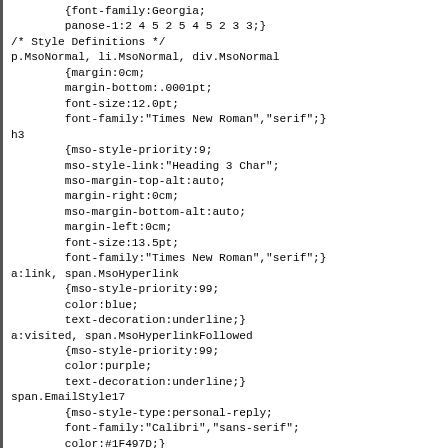{font-family:Georgia;
        panose-1:2 4 5 2 5 4 5 2 3 3;}
/* Style Definitions */
p.MsoNormal, li.MsoNormal, div.MsoNormal
        {margin:0cm;
        margin-bottom:.0001pt;
        font-size:12.0pt;
        font-family:"Times New Roman","serif";}
h3
        {mso-style-priority:9;
        mso-style-link:"Heading 3 Char";
        mso-margin-top-alt:auto;
        margin-right:0cm;
        mso-margin-bottom-alt:auto;
        margin-left:0cm;
        font-size:13.5pt;
        font-family:"Times New Roman","serif";}
a:link, span.MsoHyperlink
        {mso-style-priority:99;
        color:blue;
        text-decoration:underline;}
a:visited, span.MsoHyperlinkFollowed
        {mso-style-priority:99;
        color:purple;
        text-decoration:underline;}
span.EmailStyle17
        {mso-style-type:personal-reply;
        font-family:"Calibri","sans-serif";
        color:#1F497D;}
span.Heading3Char